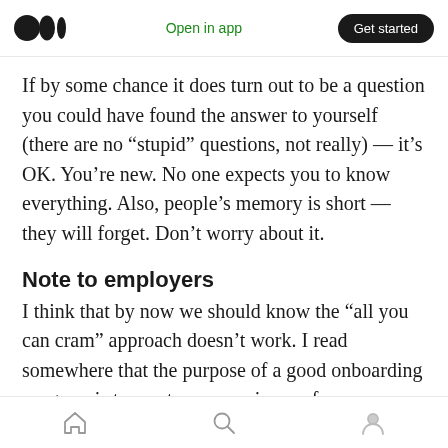Open in app  Get started
If by some chance it does turn out to be a question you could have found the answer to yourself (there are no “stupid” questions, not really) — it’s OK. You’re new. No one expects you to know everything. Also, people’s memory is short — they will forget. Don’t worry about it.
Note to employers
I think that by now we should know the “all you can cram” approach doesn’t work. I read somewhere that the purpose of a good onboarding program is to create an experience of
Home  Search  Profile